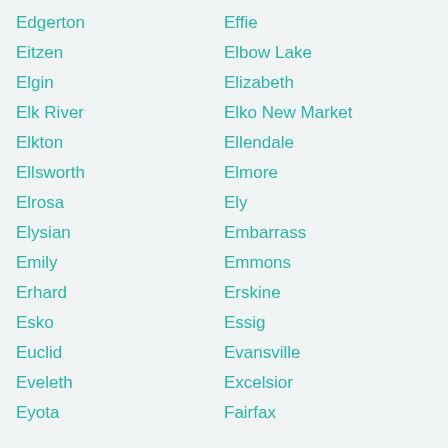Edgerton
Effie
Eitzen
Elbow Lake
Elgin
Elizabeth
Elk River
Elko New Market
Elkton
Ellendale
Ellsworth
Elmore
Elrosa
Ely
Elysian
Embarrass
Emily
Emmons
Erhard
Erskine
Esko
Essig
Euclid
Evansville
Eveleth
Excelsior
Eyota
Fairfax